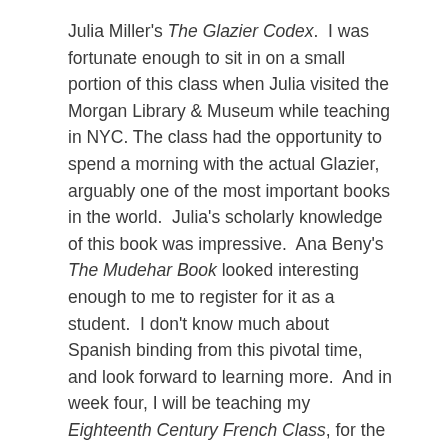Julia Miller's The Glazier Codex.  I was fortunate enough to sit in on a small portion of this class when Julia visited the Morgan Library & Museum while teaching in NYC. The class had the opportunity to spend a morning with the actual Glazier, arguably one of the most important books in the world.  Julia's scholarly knowledge of this book was impressive.  Ana Beny's The Mudehar Book looked interesting enough to me to register for it as a student.  I don't know much about Spanish binding from this pivotal time, and look forward to learning more.  And in week four, I will be teaching my Eighteenth Century French Class, for the first time incorporating a lot of new research — and many powerpoint presentations —  from when I was a fellow at the Morgan last fall.
I think every book conservator should attend Monte at least once in their career. It generally proves to be an unforgettable experience: concentrated learning, the